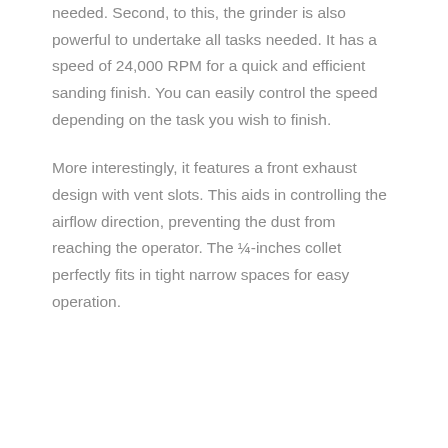needed. Second, to this, the grinder is also powerful to undertake all tasks needed. It has a speed of 24,000 RPM for a quick and efficient sanding finish. You can easily control the speed depending on the task you wish to finish.
More interestingly, it features a front exhaust design with vent slots. This aids in controlling the airflow direction, preventing the dust from reaching the operator. The ¼-inches collet perfectly fits in tight narrow spaces for easy operation.